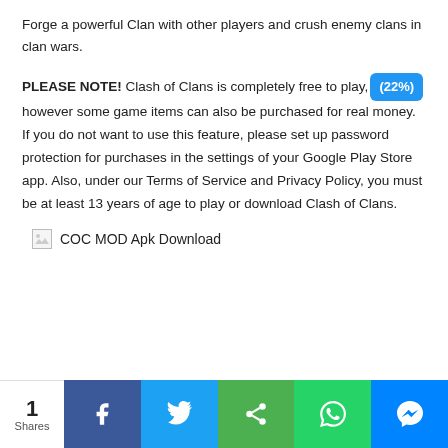Forge a powerful Clan with other players and crush enemy clans in clan wars.
PLEASE NOTE! Clash of Clans is completely free to play, (22%) however some game items can also be purchased for real money. If you do not want to use this feature, please set up password protection for purchases in the settings of your Google Play Store app. Also, under our Terms of Service and Privacy Policy, you must be at least 13 years of age to play or download Clash of Clans.
[Figure (other): Broken image placeholder with alt text: COC MOD Apk Download]
1 Shares | Facebook | Twitter | Share | WhatsApp | Messenger